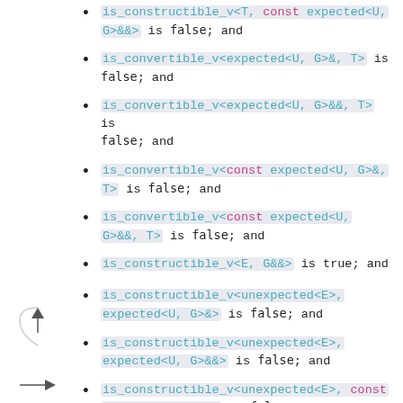is_constructible_v<T, const expected<U, G>&&> is false; and
is_convertible_v<expected<U, G>&, T> is false; and
is_convertible_v<expected<U, G>&&, T> is false; and
is_convertible_v<const expected<U, G>&, T> is false; and
is_convertible_v<const expected<U, G>&&, T> is false; and
is_constructible_v<E, G&&> is true; and
is_constructible_v<unexpected<E>, expected<U, G>&> is false; and
is_constructible_v<unexpected<E>, expected<U, G>&&> is false; and
is_constructible_v<unexpected<E>, const expected<U, G>&> is false; and